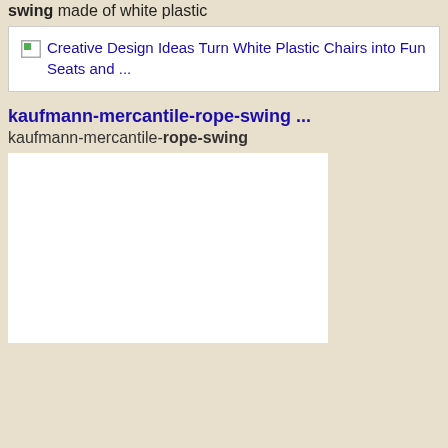swing made of white plastic
[Figure (screenshot): Search result image thumbnail showing broken image icon with text: Creative Design Ideas Turn White Plastic Chairs into Fun Seats and ...]
kaufmann-mercantile-rope-swing ...
kaufmann-mercantile-rope-swing
[Figure (photo): Large white empty image placeholder/thumbnail area]